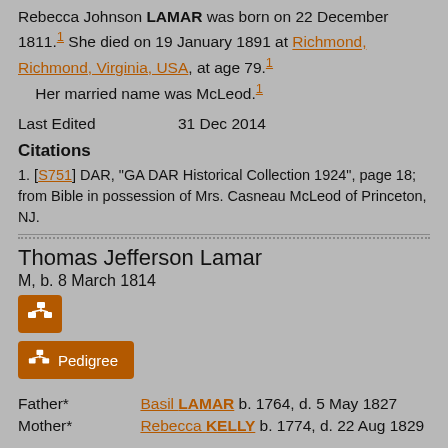Rebecca Johnson LAMAR was born on 22 December 1811.1 She died on 19 January 1891 at Richmond, Richmond, Virginia, USA, at age 79.1 Her married name was McLeod.1
Last Edited   31 Dec 2014
Citations
1. [S751] DAR, "GA DAR Historical Collection 1924", page 18; from Bible in possession of Mrs. Casneau McLeod of Princeton, NJ.
Thomas Jefferson Lamar
M, b. 8 March 1814
[Figure (other): Icon button with tree/pedigree chart symbol]
[Figure (other): Pedigree button with tree/pedigree chart symbol and label Pedigree]
| Father* | Basil LAMAR b. 1764, d. 5 May 1827 |
| Mother* | Rebecca KELLY b. 1774, d. 22 Aug 1829 |
Thomas Jefferson LAMAR was born on 8 March 1814.1